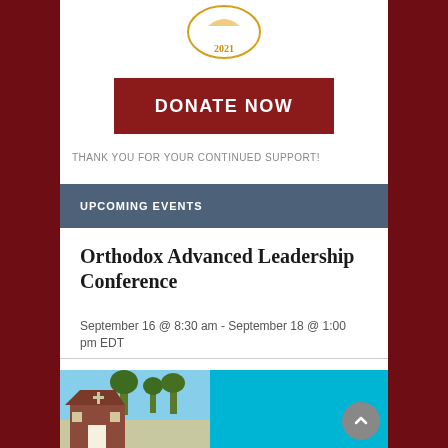[Figure (logo): Circular logo/seal with '2021' text and orange/gold color]
DONATE NOW
THANK YOU FOR YOUR CONTINUED SUPPORT!
UPCOMING EVENTS
Orthodox Advanced Leadership Conference
September 16 @ 8:30 am - September 18 @ 1:00 pm EDT
[Figure (photo): Photo of a church building with trees, alongside a cyan/blue panel]